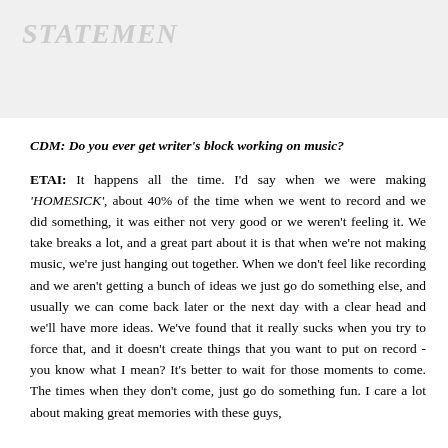STATEMEN
CDM: Do you ever get writer's block working on music? ETAI: It happens all the time. I'd say when we were making 'HOMESICK', about 40% of the time when we went to record and we did something, it was either not very good or we weren't feeling it. We take breaks a lot, and a great part about it is that when we're not making music, we're just hanging out together. When we don't feel like recording and we aren't getting a bunch of ideas we just go do something else, and usually we can come back later or the next day with a clear head and we'll have more ideas. We've found that it really sucks when you try to force that, and it doesn't create things that you want to put on record - you know what I mean? It's better to wait for those moments to come. The times when they don't come, just go do something fun. I care a lot about making great memories with these guys,